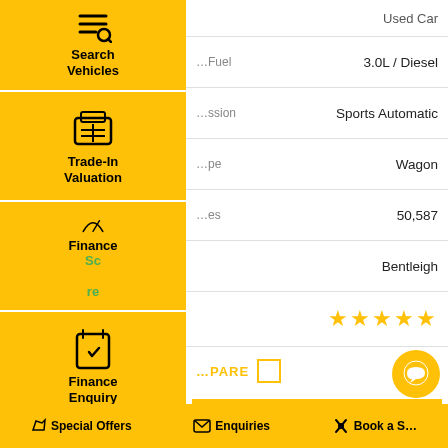[Figure (screenshot): Car dealership website UI with left sidebar navigation and vehicle detail rows]
Search Vehicles
Trade-In Valuation
Finance Score
Finance Enquiry
Test Drive
Used Car
Fuel: 3.0L / Diesel
Transmission: Sports Automatic
Body Type: Wagon
Kilometres: 50,587
Location: Bentleigh
Rating: ★★★★★
COMPARE
BOOK A TEST DRIVE
Special Offers   Enquiries   Book a S...